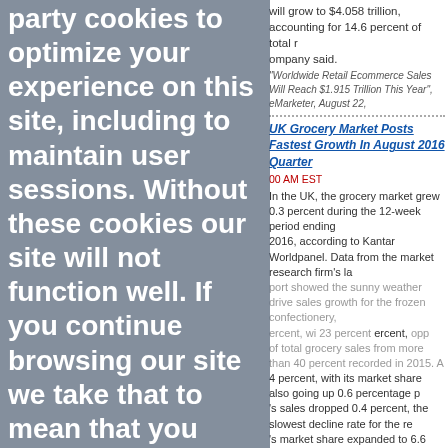party cookies will grow to $4.058 trillion, accounting for 14.6 percent of total retail sales by 2020, the company said.
"Worldwide Retail Ecommerce Sales Will Reach $1.915 Trillion This Year", eMarketer, August 22,
party cookies to optimize your experience on this site, including to maintain user sessions. Without these cookies our site will not function well. If you continue browsing our site we take that to mean that you understand and accept how we use the cookies. If you wish to decline our cookies we will redirect you to Google.
UK Grocery Market Posts Fastest Growth In August 2016 Quarter
00 AM EST
In the UK, the grocery market grew 0.3 percent during the 12-week period ending August 2016, according to Kantar Worldpanel. Data from the market research firm's latest report showed the sunny weather drove sales growth for the frozen confectionery, up 23 percent, with soft drinks up 3 percent, and opportunities for outdoor eating. Online accounted for 6.4 percent of total grocery sales from more than 40 percent recorded in 2015. Amazon sales grew by 34 percent, with its market share also going up 0.6 percentage points to 0.8 percent. Tesco's sales dropped 0.4 percent, the slowest decline rate for the retailer in 2.5 years. Lidl's market share expanded to 6.6 percent, driven by the 2.8 percent increase in sales.
Fraser Mckeown, "Grocery market heats up while promotions cool", Kantar Worldpanel, August 22, 2016, © Kantar Worldpanel
IT And Supply Chain Provide Winning Formula For Target
00 AM EST
When Mike McNamara took over the CIO job at Target, he realized that reprioritizing the company's 800 IT projects was Job One. He and his team whittled
ACCEPT
Reject